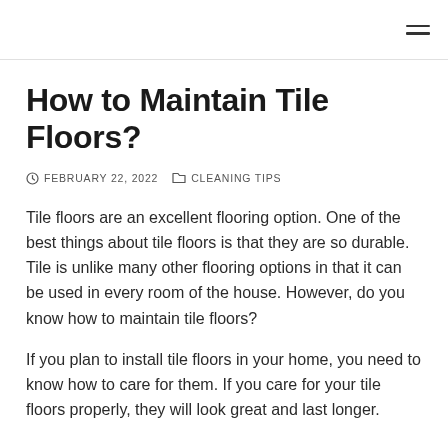≡
How to Maintain Tile Floors?
FEBRUARY 22, 2022   CLEANING TIPS
Tile floors are an excellent flooring option. One of the best things about tile floors is that they are so durable. Tile is unlike many other flooring options in that it can be used in every room of the house. However, do you know how to maintain tile floors?
If you plan to install tile floors in your home, you need to know how to care for them. If you care for your tile floors properly, they will look great and last longer.